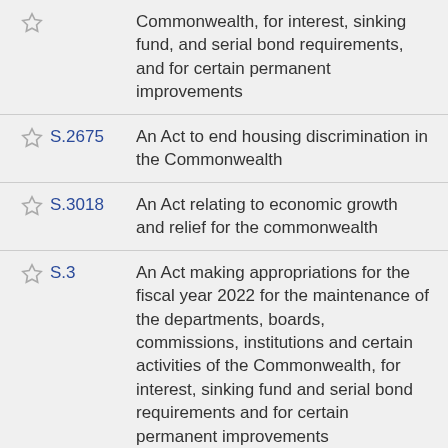Commonwealth, for interest, sinking fund, and serial bond requirements, and for certain permanent improvements
S.2675 — An Act to end housing discrimination in the Commonwealth
S.3018 — An Act relating to economic growth and relief for the commonwealth
S.3 — An Act making appropriations for the fiscal year 2022 for the maintenance of the departments, boards, commissions, institutions and certain activities of the Commonwealth, for interest, sinking fund and serial bond requirements and for certain permanent improvements
H.4000 — An Act making appropriations for the fiscal year 2022 for the maintenance of the departments, boards, commissions, institutions and certain activities of the Commonwealth, for interest, sinking...